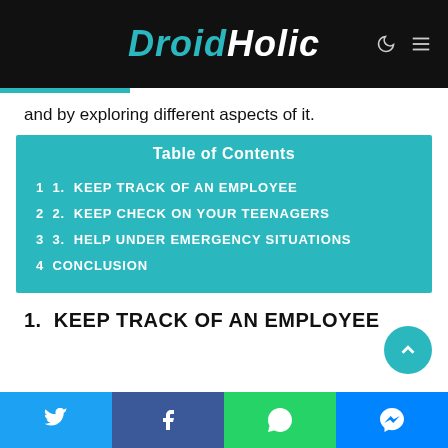DroidHolic
and by exploring different aspects of it.
| # | Item |
| --- | --- |
| 1 | 1.  KEEP TRACK OF AN EMPLOYEE |
| 2 | 2.  KEEP CHECK ON YOUR TEENAGERS |
| 3 | 3.  HELP UNDER EMERGENCY SITUATIONS |
| 4 | CONCLUSION |
1.  KEEP TRACK OF AN EMPLOYEE
Twitter | Facebook | WhatsApp | Messenger